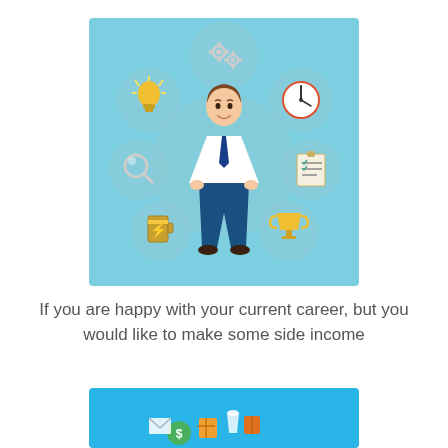[Figure (illustration): Flat style illustration of a businessman in white shirt and blue tie standing with hands on hips, surrounded by circular icons on a light blue background: gears (top center), lightbulb (top left), clock (top right), magnifying glass (middle left), checklist (middle right), battery/energy (bottom left), trophy (bottom right), with a large grey circle behind the person.]
If you are happy with your current career, but you would like to make some side income
[Figure (illustration): Partial view of a flat style illustration on a bright blue background showing various ecommerce or shopping related icons including what appear to be products, packages, and currency symbols scattered around.]